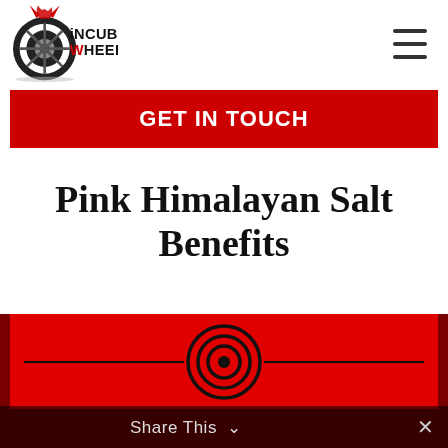[Figure (logo): Incubus Wheels logo — tire with devil horns and flame, text 'iNCUBUS WHEELs' in black and red]
[Figure (other): Hamburger menu icon — three horizontal black lines]
GET IN TOUCH
Pink Himalayan Salt Benefits
[Figure (other): Red banner with centered concentric circles target icon and horizontal lines on each side as a decorative divider]
Share This ∨ ✕